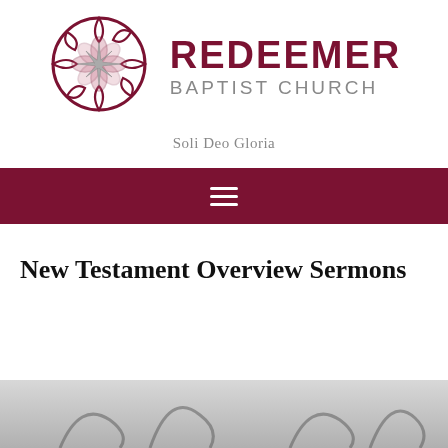[Figure (logo): Redeemer Baptist Church logo: circular thorn-wreath emblem with compass star in dark red/maroon, accompanied by bold dark red text 'REDEEMER' and gray text 'BAPTIST CHURCH']
Soli Deo Gloria
[Figure (infographic): Dark maroon navigation bar with white hamburger menu icon (three horizontal lines)]
New Testament Overview Sermons
[Figure (photo): Bottom strip showing a partial grayscale/silver decorative image, partially visible]